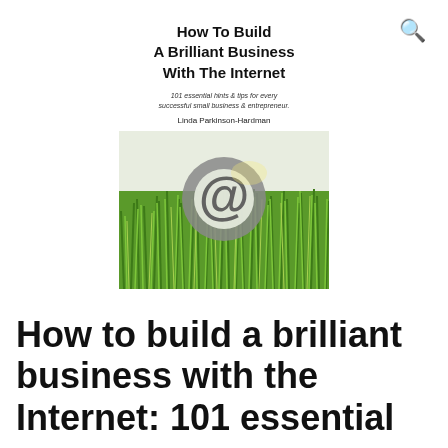[Figure (illustration): Book cover of 'How To Build A Brilliant Business With The Internet' by Linda Parkinson-Hardman, featuring an @ symbol rising above green grass.]
How to build a brilliant business with the Internet: 101 essential